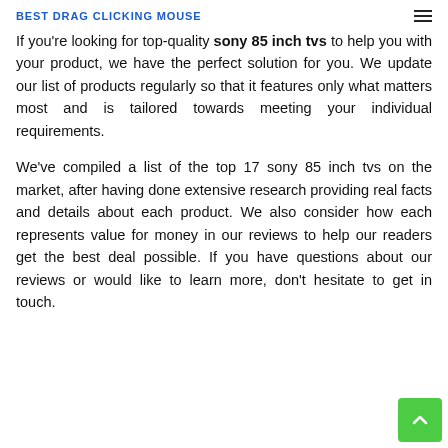BEST DRAG CLICKING MOUSE
If you're looking for top-quality sony 85 inch tvs to help you with your product, we have the perfect solution for you. We update our list of products regularly so that it features only what matters most and is tailored towards meeting your individual requirements.
We've compiled a list of the top 17 sony 85 inch tvs on the market, after having done extensive research providing real facts and details about each product. We also consider how each represents value for money in our reviews to help our readers get the best deal possible. If you have questions about our reviews or would like to learn more, don't hesitate to get in touch.